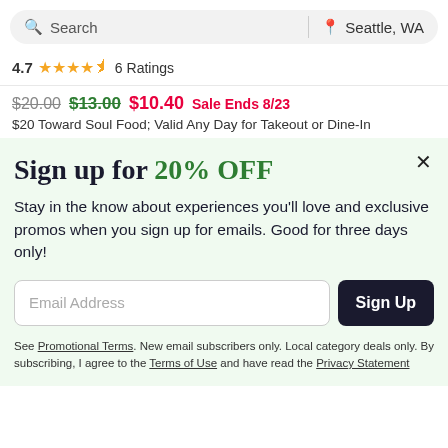Search | Seattle, WA
4.7 ★★★★½ 6 Ratings
$20.00 $13.00 $10.40 Sale Ends 8/23
$20 Toward Soul Food; Valid Any Day for Takeout or Dine-In
Sign up for 20% OFF
Stay in the know about experiences you'll love and exclusive promos when you sign up for emails. Good for three days only!
Email Address [Sign Up button]
See Promotional Terms. New email subscribers only. Local category deals only. By subscribing, I agree to the Terms of Use and have read the Privacy Statement